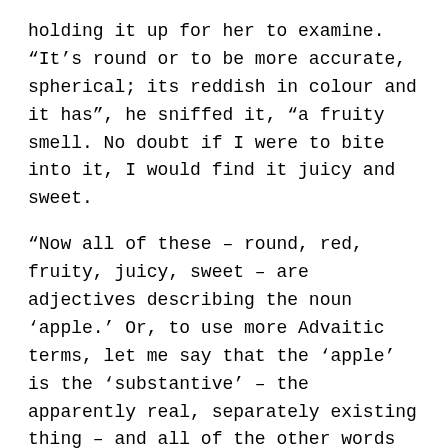holding it up for her to examine. “It’s round or to be more accurate, spherical; its reddish in colour and it has”, he sniffed it, “a fruity smell. No doubt if I were to bite into it, I would find it juicy and sweet.
“Now all of these – round, red, fruity, juicy, sweet – are adjectives describing the noun ‘apple.’ Or, to use more Advaitic terms, let me say that the ‘apple’ is the ‘substantive’ – the apparently real, separately existing thing – and all of the other words are ‘attributes’ of the apple – merely incidental qualities of the thing itself. Are you with me so far?”
She nodded hesitantly but, after a little reflection, more positively.
“But suppose I had carried out this analysis